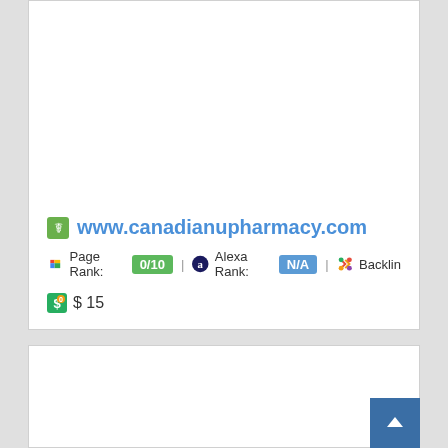www.canadianupharmacy.com
Page Rank: 0/10 | Alexa Rank: N/A | Backlinks
$ 15